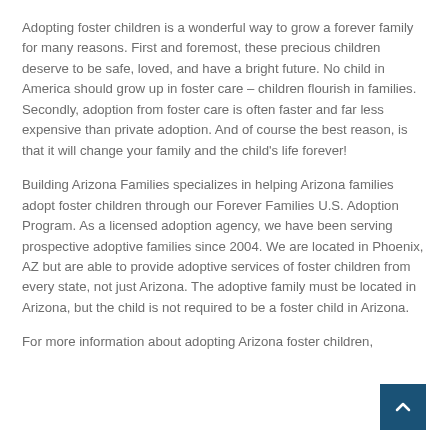Adopting foster children is a wonderful way to grow a forever family for many reasons. First and foremost, these precious children deserve to be safe, loved, and have a bright future. No child in America should grow up in foster care – children flourish in families. Secondly, adoption from foster care is often faster and far less expensive than private adoption. And of course the best reason, is that it will change your family and the child's life forever!
Building Arizona Families specializes in helping Arizona families adopt foster children through our Forever Families U.S. Adoption Program. As a licensed adoption agency, we have been serving prospective adoptive families since 2004. We are located in Phoenix, AZ but are able to provide adoptive services of foster children from every state, not just Arizona. The adoptive family must be located in Arizona, but the child is not required to be a foster child in Arizona.
For more information about adopting Arizona foster children,